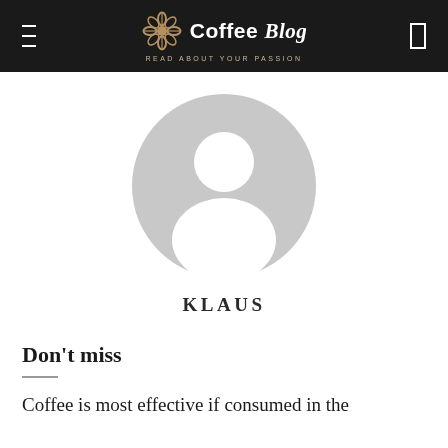Coffee Blog — READ ABOUT YOUR PASSION
[Figure (illustration): Generic user avatar placeholder — grey circle with white silhouette of a person (head and shoulders)]
KLAUS
Don't miss
Coffee is most effective if consumed in the